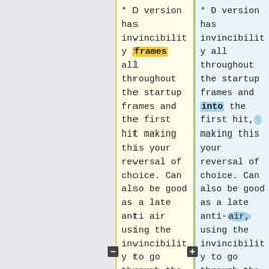* D version has invincibility frames all throughout the startup frames and the first hit making this your reversal of choice. Can also be good as a late anti air using the invincibility to go through the
* D version has invincibility all throughout the startup frames and into the first hit, making this your reversal of choice. Can also be good as a late anti-air, using the invincibility to go through the